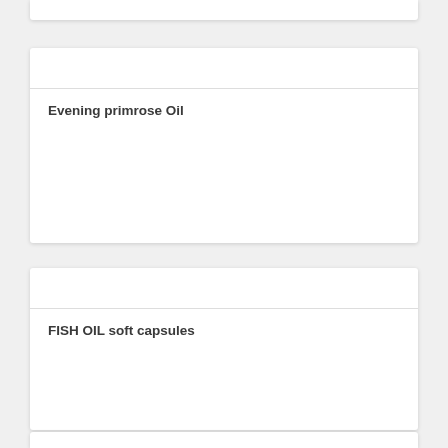Evening primrose Oil
FISH OIL soft capsules